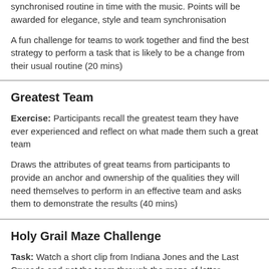synchronised routine in time with the music. Points will be awarded for elegance, style and team synchronisation
A fun challenge for teams to work together and find the best strategy to perform a task that is likely to be a change from their usual routine (20 mins)
Greatest Team
Exercise: Participants recall the greatest team they have ever experienced and reflect on what made them such a great team
Draws the attributes of great teams from participants to provide an anchor and ownership of the qualities they will need themselves to perform in an effective team and asks them to demonstrate the results (40 mins)
Holy Grail Maze Challenge
Task: Watch a short clip from Indiana Jones and the Last Crusade and get the team through the maze of letter